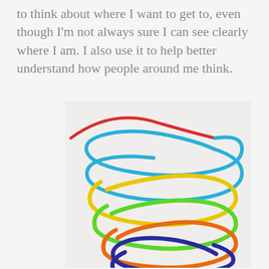to think about where I want to get to, even though I'm not always sure I can see clearly where I am. I also use it to help better understand how people around me think.
[Figure (photo): A photograph of a colorful hand-drawn spiral made with crayons on white paper. The spiral consists of multiple loops in rainbow colors from top to bottom: red/blue at the top, blue, yellow, green, orange, dark blue/indigo, red, and purple at the bottom. The spiral narrows toward the bottom giving a funnel or tornado-like shape.]